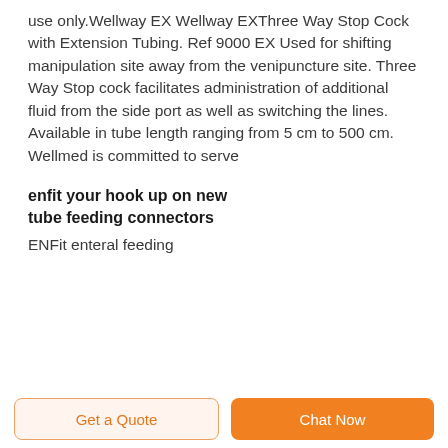use only.Wellway EX Wellway EXThree Way Stop Cock with Extension Tubing. Ref 9000 EX Used for shifting manipulation site away from the venipuncture site. Three Way Stop cock facilitates administration of additional fluid from the side port as well as switching the lines. Available in tube length ranging from 5 cm to 500 cm. Wellmed is committed to serve
enfit your hook up on new tube feeding connectors
ENFit enteral feeding
Get a Quote  Chat Now